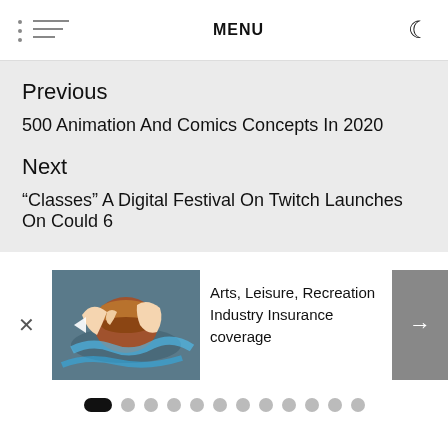MENU
Previous
500 Animation And Comics Concepts In 2020
Next
“Classes” A Digital Festival On Twitch Launches On Could 6
[Figure (photo): Pottery wheel with hands shaping clay, colorful background]
Arts, Leisure, Recreation Industry Insurance coverage